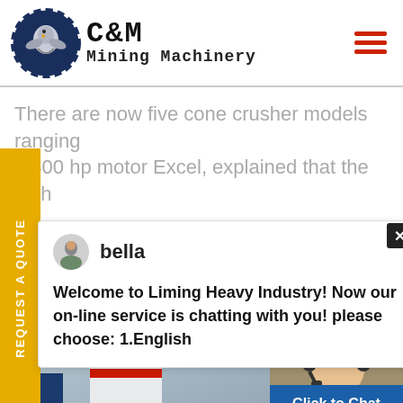[Figure (logo): C&M Mining Machinery logo with eagle in gear emblem]
There are now five cone crusher models ranging n 300 hp motor Excel, explained that the high
[Figure (screenshot): Chat popup from Liming Heavy Industry with support agent bella. Message: Welcome to Liming Heavy Industry! Now our on-line service is chatting with you! please choose: 1.English]
[Figure (photo): Industrial cone crusher equipment in facility on left; customer support agent with headset on right with Click to Chat and Enquiry buttons]